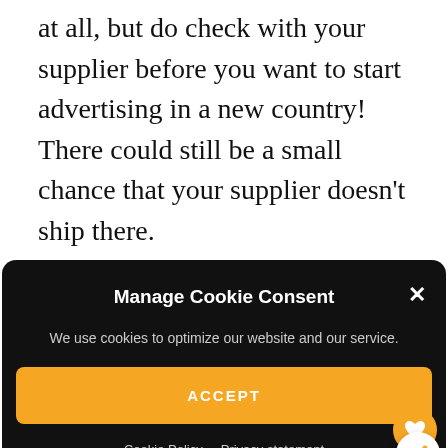at all, but do check with your supplier before you want to start advertising in a new country! There could still be a small chance that your supplier doesn't ship there.
[Figure (screenshot): Cookie consent modal popup with dark background. Title: 'Manage Cookie Consent' with an X close button. Body text: 'We use cookies to optimize our website and our service.' An orange ACCEPT button. Links: 'Cookie Policy' and 'Privacy statement'.]
here)
Because if you ship from China, then the shipping times might be 2-4 weeks in total! (Source)